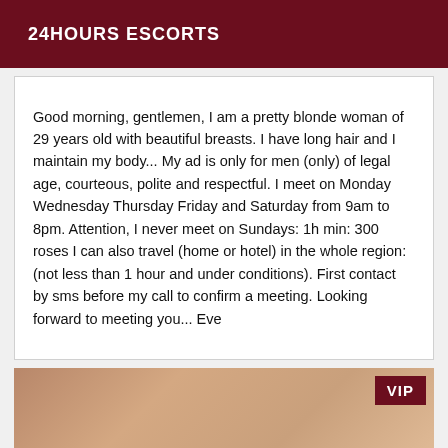24HOURS ESCORTS
Good morning, gentlemen, I am a pretty blonde woman of 29 years old with beautiful breasts. I have long hair and I maintain my body... My ad is only for men (only) of legal age, courteous, polite and respectful. I meet on Monday Wednesday Thursday Friday and Saturday from 9am to 8pm. Attention, I never meet on Sundays: 1h min: 300 roses I can also travel (home or hotel) in the whole region:(not less than 1 hour and under conditions). First contact by sms before my call to confirm a meeting. Looking forward to meeting you... Eve
[Figure (photo): Close-up photo with VIP badge overlay in dark red in the top right corner]